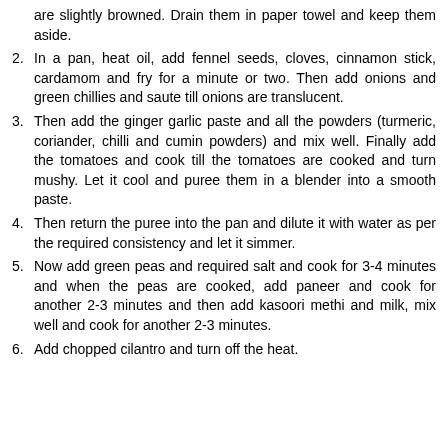are slightly browned. Drain them in paper towel and keep them aside.
2. In a pan, heat oil, add fennel seeds, cloves, cinnamon stick, cardamom and fry for a minute or two. Then add onions and green chillies and saute till onions are translucent.
3. Then add the ginger garlic paste and all the powders (turmeric, coriander, chilli and cumin powders) and mix well. Finally add the tomatoes and cook till the tomatoes are cooked and turn mushy. Let it cool and puree them in a blender into a smooth paste.
4. Then return the puree into the pan and dilute it with water as per the required consistency and let it simmer.
5. Now add green peas and required salt and cook for 3-4 minutes and when the peas are cooked, add paneer and cook for another 2-3 minutes and then add kasoori methi and milk, mix well and cook for another 2-3 minutes.
6. Add chopped cilantro and turn off the heat.